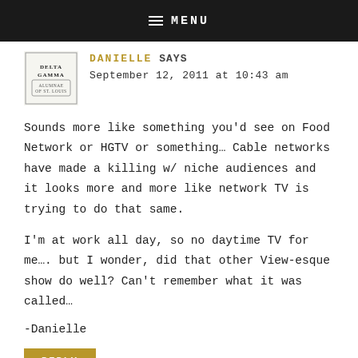≡ MENU
[Figure (logo): Delta Gamma Alumnae of St. Louis logo — circular badge with text]
DANIELLE SAYS
September 12, 2011 at 10:43 am
Sounds more like something you'd see on Food Network or HGTV or something… Cable networks have made a killing w/ niche audiences and it looks more and more like network TV is trying to do that same.
I'm at work all day, so no daytime TV for me…. but I wonder, did that other View-esque show do well? Can't remember what it was called…
-Danielle
REPLY